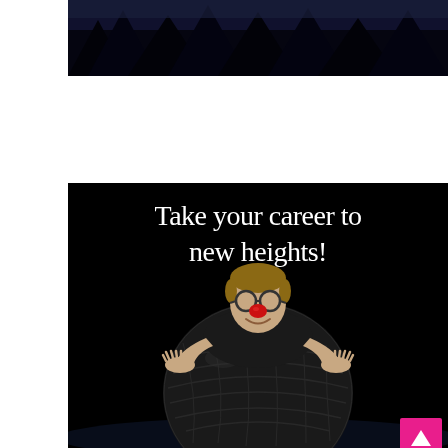[Figure (photo): Dark photographic banner strip at the top showing a dark outdoor/forest scene with dark tones and trees in the background.]
[Figure (photo): Large black-background promotional photo of a man wearing glasses and a red clown nose, leaning with his arms outstretched on a large dark exercise/stability ball. White text overlaid reads 'Take your career to new heights!' A small magenta/pink square button with a white upward-pointing arrow triangle is in the bottom-right corner of the image.]